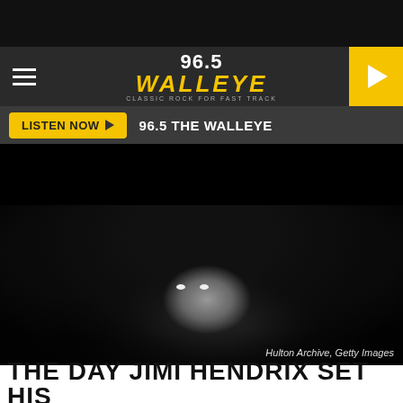[Figure (screenshot): Website header screenshot for 96.5 The Walleye radio station, showing hamburger menu, logo, yellow play button, Listen Now bar, ad space, black and white portrait photo of Jimi Hendrix, and partial article title]
96.5 THE WALLEYE
LISTEN NOW ▶   96.5 THE WALLEYE
[Figure (photo): Black and white portrait photograph of Jimi Hendrix with afro hairstyle, looking upward. Credit: Hulton Archive, Getty Images]
Hulton Archive, Getty Images
THE DAY JIMI HENDRIX SET HIS